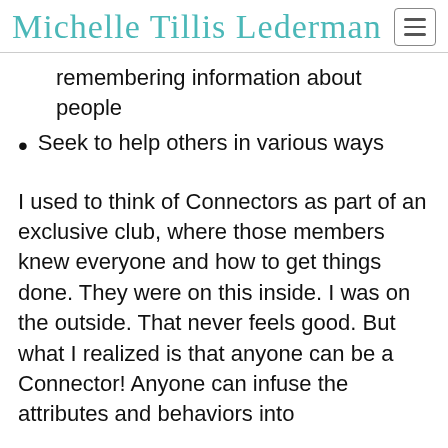Michelle Tillis Lederman
remembering information about people
Seek to help others in various ways
I used to think of Connectors as part of an exclusive club, where those members knew everyone and how to get things done. They were on this inside. I was on the outside. That never feels good. But what I realized is that anyone can be a Connector! Anyone can infuse the attributes and behaviors into